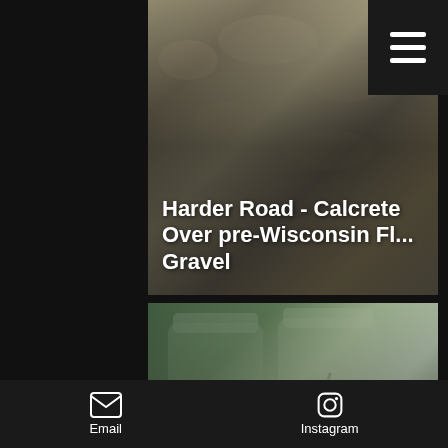[Figure (photo): Photo of calcrete/gravel sediment layer, tan-gray sandy material with rock texture. Title overlay: 'Harder Road - Calcrete Over pre-Wisconsin Fl... Gravel']
Harder Road - Calcrete Over pre-Wisconsin Fl... Gravel
[Figure (photo): Photo of glass jars containing liquid with green crack/fracture patterns, labeled 'Haiying Juang (2014)'. Right side shows partial diagram labeled 'Lupher (1...'. Title overlay: 'Hydraulic Fracture Efficiency']
Hydraulic Fracture Efficiency
Haiying Juang (2014)
[Figure (photo): Photo of cracked rocky/clay sediment surface showing clastic dike patterns. Title overlay begins: 'Clastic Dikes: The Tons of']
Clastic Dikes: The Tons of
Email    Instagram